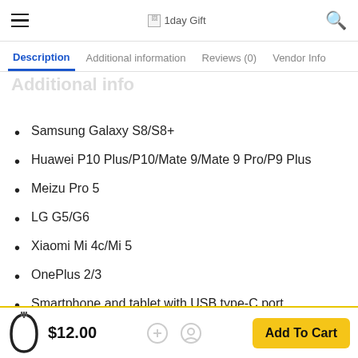1day Gift
Description | Additional information | Reviews (0) | Vendor Info
Samsung Galaxy S8/S8+
Huawei P10 Plus/P10/Mate 9/Mate 9 Pro/P9 Plus
Meizu Pro 5
LG G5/G6
Xiaomi Mi 4c/Mi 5
OnePlus 2/3
Smartphone and tablet with USB type-C port
$12.00   Add To Cart